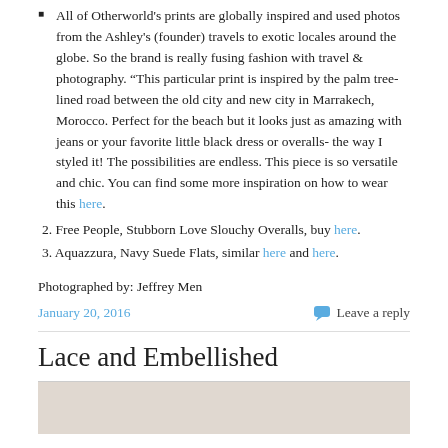All of Otherworld's prints are globally inspired and used photos from the Ashley's (founder) travels to exotic locales around the globe. So the brand is really fusing fashion with travel & photography. “This particular print is inspired by the palm tree-lined road between the old city and new city in Marrakech, Morocco. Perfect for the beach but it looks just as amazing with jeans or your favorite little black dress or overalls- the way I styled it! The possibilities are endless. This piece is so versatile and chic. You can find some more inspiration on how to wear this here.
2. Free People, Stubborn Love Slouchy Overalls, buy here.
3. Aquazzura, Navy Suede Flats, similar here and here.
Photographed by: Jeffrey Men
January 20, 2016
Leave a reply
Lace and Embellished
[Figure (photo): Bottom portion of a photo, showing what appears to be a light-colored background, partially visible at the very bottom of the page.]